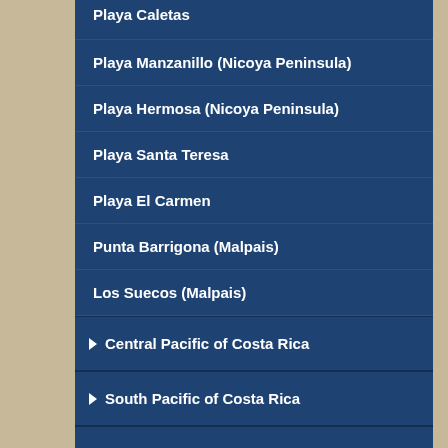Playa Caletas
Playa Manzanillo (Nicoya Peninsula)
Playa Hermosa (Nicoya Peninsula)
Playa Santa Teresa
Playa El Carmen
Punta Barrigona (Malpais)
Los Suecos (Malpais)
Central Pacific of Costa Rica
South Pacific of Costa Rica
Caribbean of Costa Rica